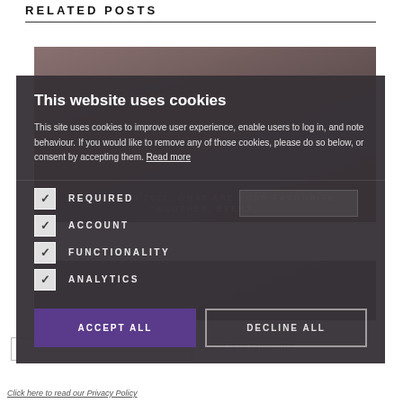RELATED POSTS
[Figure (photo): Blurred photo of a person, overlaid with text: PS AWARDS 2022: WHAT ARE YOUR FAVOURITE CLOTHES, EVER?]
[Figure (photo): Dark photo with overlay text: WHAT MAKES QUALITY IN MACHINE-MADE CLOTHING?]
This website uses cookies
This site uses cookies to improve user experience, enable users to log in, and note behaviour. If you would like to remove any of those cookies, please do so below, or consent by accepting them. Read more
REQUIRED
ACCOUNT
FUNCTIONALITY
ANALYTICS
ACCEPT ALL
DECLINE ALL
Click here to read our Privacy Policy